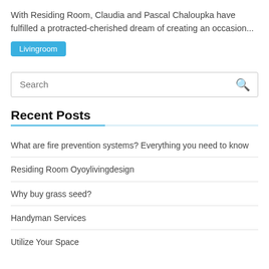With Residing Room, Claudia and Pascal Chaloupka have fulfilled a protracted-cherished dream of creating an occasion...
Livingroom
[Figure (other): Search input box with magnifier icon]
Recent Posts
What are fire prevention systems? Everything you need to know
Residing Room Oyoylivingdesign
Why buy grass seed?
Handyman Services
Utilize Your Space